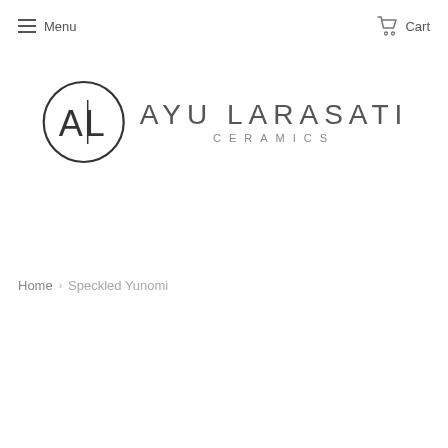Menu  Cart
[Figure (logo): Ayu Larasati Ceramics logo: circular emblem with stylized AL letters on the left, and 'AYU LARASATI CERAMICS' text on the right]
Home › Speckled Yunomi